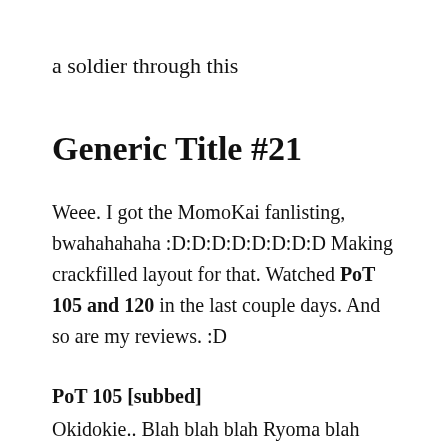a soldier through this
Generic Title #21
Weee. I got the MomoKai fanlisting, bwahahahaha :D:D:D:D:D:D:D:D Making crackfilled layout for that. Watched PoT 105 and 120 in the last couple days. And so are my reviews. :D
PoT 105 [subbed]
Okidokie.. Blah blah blah Ryoma blah blah blah Sanada Blah blah blah match blah blah